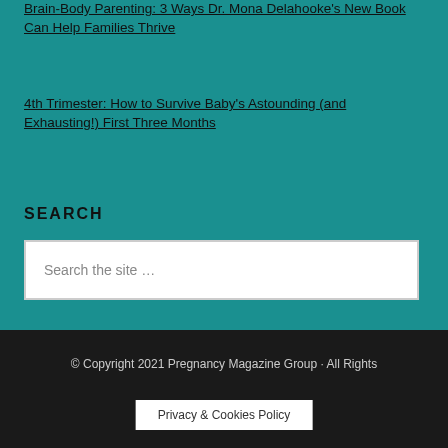Brain-Body Parenting: 3 Ways Dr. Mona Delahooke's New Book Can Help Families Thrive
4th Trimester: How to Survive Baby's Astounding (and Exhausting!) First Three Months
SEARCH
Search the site ...
© Copyright 2021 Pregnancy Magazine Group · All Rights
Privacy & Cookies Policy